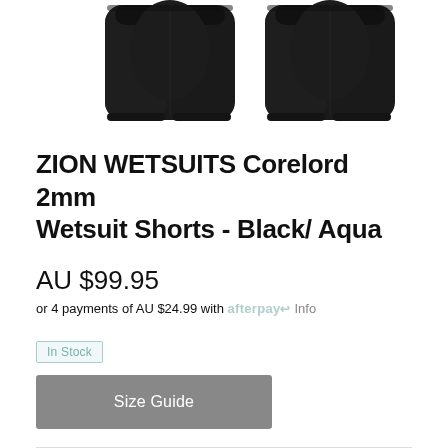[Figure (photo): Two black neoprene wetsuit shorts shown from the front against a white background]
ZION WETSUITS Corelord 2mm Wetsuit Shorts - Black/ Aqua
AU $99.95
or 4 payments of AU $24.99 with afterpay Info
In Stock
Size Guide